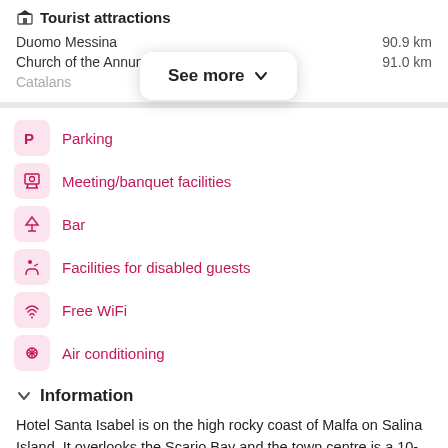Tourist attractions
Duomo Messina  90.9 km
Church of the Annun...  91.0 km
Catalans
See more
Parking
Meeting/banquet facilities
Bar
Facilities for disabled guests
Free WiFi
Air conditioning
Information
Hotel Santa Isabel is on the high rocky coast of Malfa on Salina Island. It overlooks the Scario Bay and the town centre is a 10-minute walk away.